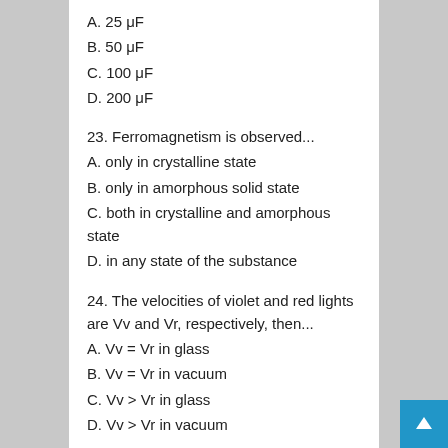A. 25 μF
B. 50 μF
C. 100 μF
D. 200 μF
23. Ferromagnetism is observed...
A. only in crystalline state
B. only in amorphous solid state
C. both in crystalline and amorphous state
D. in any state of the substance
24. The velocities of violet and red lights are Vv and Vr, respectively, then...
A. Vv = Vr in glass
B. Vv = Vr in vacuum
C. Vv > Vr in glass
D. Vv > Vr in vacuum
25. 1 astronomical unit is equal to...
A. 499 light seconds